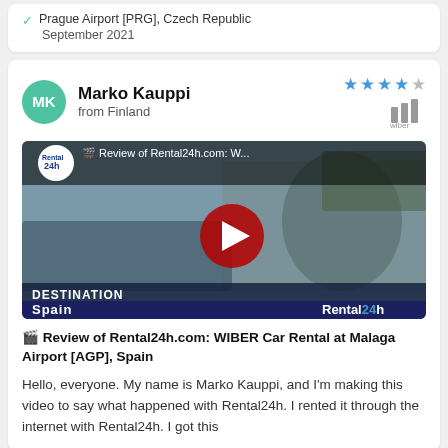Prague Airport [PRG], Czech Republic
September 2021
Marko Kauppi
from Finland
[Figure (screenshot): YouTube video thumbnail showing a man near a car, with Rental24h logo, title '🎬 Review of Rental24h.com: W...', play button overlay, DESTINATION: Spain lower bar, Rental24h branding]
🎬 Review of Rental24h.com: WIBER Car Rental at Malaga Airport [AGP], Spain
Hello, everyone. My name is Marko Kauppi, and I'm making this video to say what happened with Rental24h. I rented it through the internet with Rental24h. I got this